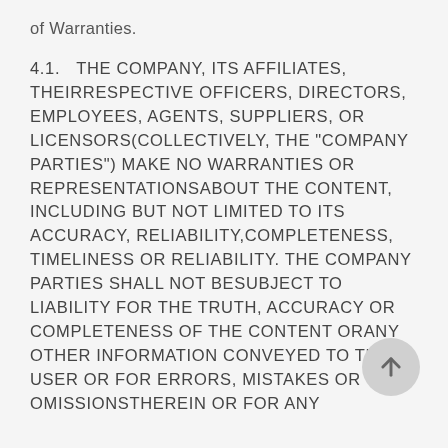of Warranties.
4.1. THE COMPANY, ITS AFFILIATES, THEIR RESPECTIVE OFFICERS, DIRECTORS, EMPLOYEES, AGENTS, SUPPLIERS, OR LICENSORS (COLLECTIVELY, THE "COMPANY PARTIES") MAKE NO WARRANTIES OR REPRESENTATIONS ABOUT THE CONTENT, INCLUDING BUT NOT LIMITED TO ITS ACCURACY, RELIABILITY, COMPLETENESS, TIMELINESS OR RELIABILITY. THE COMPANY PARTIES SHALL NOT BE SUBJECT TO LIABILITY FOR THE TRUTH, ACCURACY OR COMPLETENESS OF THE CONTENT OR ANY OTHER INFORMATION CONVEYED TO THE USER OR FOR ERRORS, MISTAKES OR OMISSIONS THEREIN OR FOR ANY